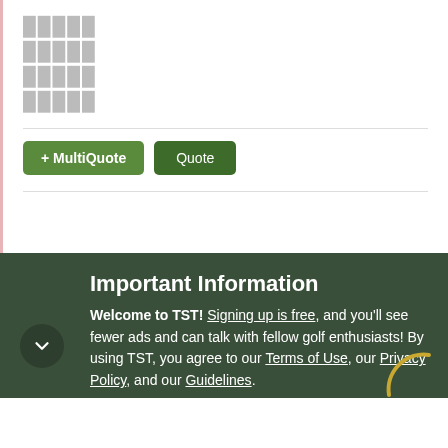█████ █████ █████ █████ (redacted user content blocks)
+ MultiQuote   Quote
Driver: Callaway Rogue / Woods: TaylorMade M2 3&5W's / Hybrid: Tommy Armour 25* / Irons: PING i500's / Wedges: [brand] 54* 58*
Important Information
Welcome to TST! Signing up is free, and you'll see fewer ads and can talk with fellow golf enthusiasts! By using TST, you agree to our Terms of Use, our Privacy Policy, and our Guidelines.